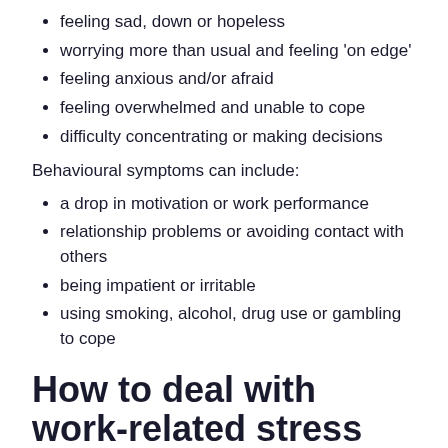feeling sad, down or hopeless
worrying more than usual and feeling 'on edge'
feeling anxious and/or afraid
feeling overwhelmed and unable to cope
difficulty concentrating or making decisions
Behavioural symptoms can include:
a drop in motivation or work performance
relationship problems or avoiding contact with others
being impatient or irritable
using smoking, alcohol, drug use or gambling to cope
How to deal with work-related stress